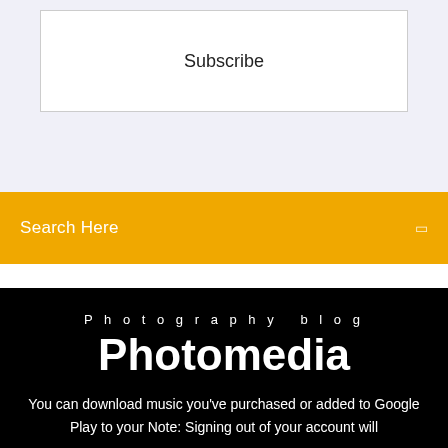Subscribe
Search Here
Photography blog
Photomedia
You can download music you've purchased or added to Google Play to your Note: Signing out of your account will